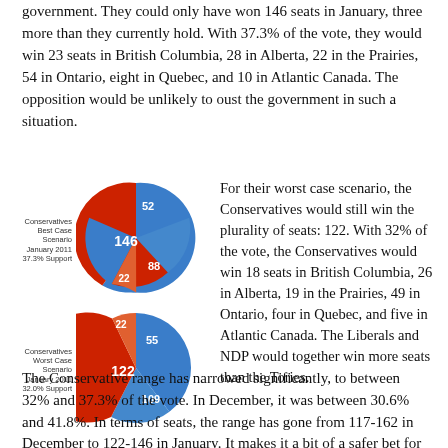government. They could only have won 146 seats in January, three more than they currently hold. With 37.3% of the vote, they would win 23 seats in British Columbia, 28 in Alberta, 22 in the Prairies, 54 in Ontario, eight in Quebec, and 10 in Atlantic Canada. The opposition would be unlikely to oust the government in such a situation.
[Figure (pie-chart): Conservatives Best Case Scenario January 2011 37.3% Support]
[Figure (pie-chart): Conservatives Worst Case Scenario January 2011 32.0% Support]
For their worst case scenario, the Conservatives would still win the plurality of seats: 122. With 32% of the vote, the Conservatives would win 18 seats in British Columbia, 26 in Alberta, 19 in the Prairies, 49 in Ontario, four in Quebec, and five in Atlantic Canada. The Liberals and NDP would together win more seats than the Tories.
The Conservative range has narrowed significantly, to between 32% and 37.3% of the vote. In December, it was between 30.6% and 41.8%. In terms of seats, the range has gone from 117-162 in December to 122-146 in January. It makes it a bit of a safer bet for the Conservatives